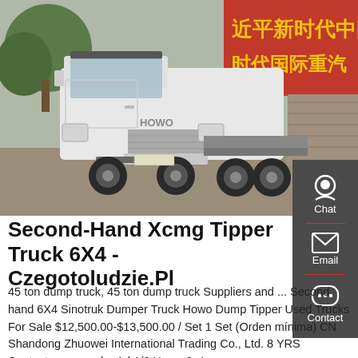[Figure (photo): A white HOWO semi-truck / tractor unit parked in a yard with trees and a red Chinese banner/sign in the background reading 近平新时代中国 and 时代国际重汽]
Second-Hand Xcmg Tipper Truck 6X4 - Czegotoludzie.Pl
45 ton dump truck, 45 ton dump truck Suppliers and ... Second hand 6X4 Sinotruk Dumper Truck Howo Dump Tipper Used Trucks For Sale $12,500.00-$13,500.00 / Set 1 Set (Orden mínima) CN Shandong Zhuowei International Trading Co., Ltd. 8 YRS Contactar proveedor Ad 1/6 Howo 6x4 ...